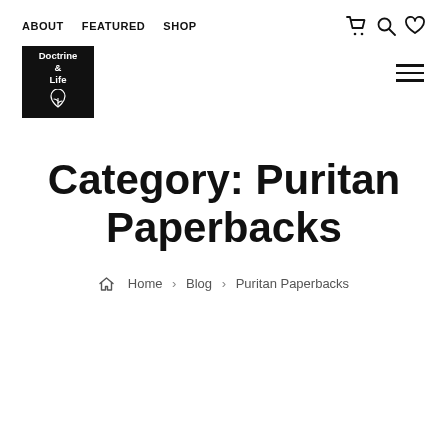ABOUT  FEATURED  SHOP
[Figure (logo): Doctrine & Life logo — black square with leaf icon]
Category: Puritan Paperbacks
Home > Blog > Puritan Paperbacks